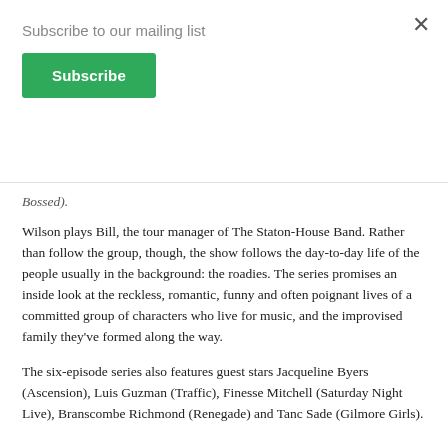Subscribe to our mailing list
Subscribe
Bossed).
Wilson plays Bill, the tour manager of The Staton-House Band. Rather than follow the group, though, the show follows the day-to-day life of the people usually in the background: the roadies. The series promises an inside look at the reckless, romantic, funny and often poignant lives of a committed group of characters who live for music, and the improvised family they've formed along the way.
The six-episode series also features guest stars Jacqueline Byers (Ascension), Luis Guzman (Traffic), Finesse Mitchell (Saturday Night Live), Branscombe Richmond (Renegade) and Tanc Sade (Gilmore Girls).